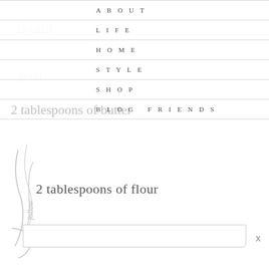8 ounces of dried macaroni or whatever
pasta type you choose
ABOUT
LIFE
HOME
STYLE
SHOP
2 tablespoons of butter
BLOG FRIENDS
2 tablespoons of flour
1/4 teaspoon of salt